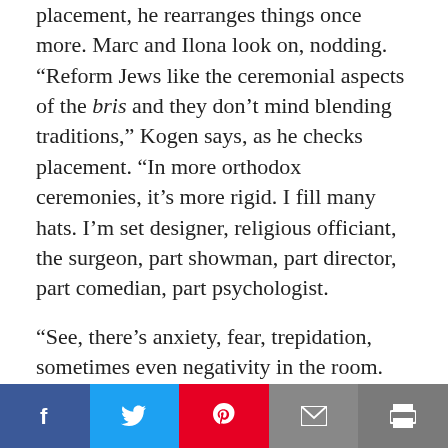placement, he rearranges things once more. Marc and Ilona look on, nodding. “Reform Jews like the ceremonial aspects of the bris and they don’t mind blending traditions,” Kogen says, as he checks placement. “In more orthodox ceremonies, it’s more rigid. I fill many hats. I’m set designer, religious officiant, the surgeon, part showman, part director, part comedian, part psychologist.
“See, there’s anxiety, fear, trepidation, sometimes even negativity in the room. My job is to bring all of this together and make this tribal blood rite a memorable occasion.”
Kogen knows his business. He’s been called the “mohel to the stars,” and has removed the foreskin of the sons
[Figure (other): Social sharing bar with five buttons: Facebook (dark blue, f icon), Twitter (light blue, bird icon), Pinterest (red, P icon), Email (gray, envelope icon), Print (dark gray, printer icon)]